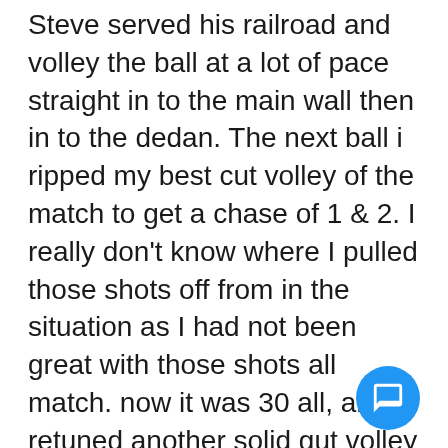Steve served his railroad and volley the ball at a lot of pace straight in to the main wall then in to the dedan. The next ball i ripped my best cut volley of the match to get a chase of 1 & 2. I really don't know where I pulled those shots off from in the situation as I had not been great with those shots all match. now it was 30 all, and I retuned another solid gut volley and then when the ball came back Rob popped the ball in to second gallery. So now we were changing ends with chase 1/2 and second galley to defend. I had served well all match and just needed two more good serves. I served my worse serve on the match with us having to defend chase 1&2. I put ball on the back penthouse allowing